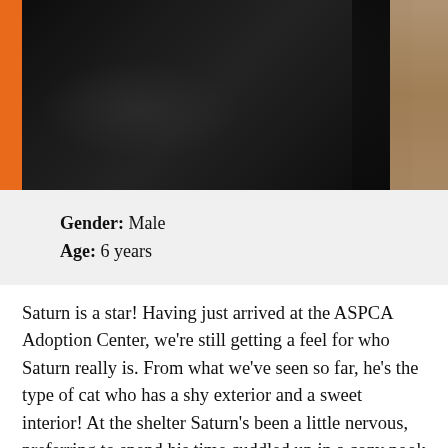[Figure (photo): Close-up photo of a black cat with an orange-accented border, partially alongside a person's skin/arm area]
Gender: Male
Age: 6 years
Saturn is a star! Having just arrived at the ASPCA Adoption Center, we're still getting a feel for who Saturn really is. From what we've seen so far, he's the type of cat who has a shy exterior and a sweet interior! At the shelter Saturn's been a little nervous, preferring to spend his time cuddled up in a cozy nook rather than trying to be the center of attention. But, offer him your hand and talk to him quietly—perhaps in one of those oh-so-cute baby voices—and Saturn slowly begins to soften